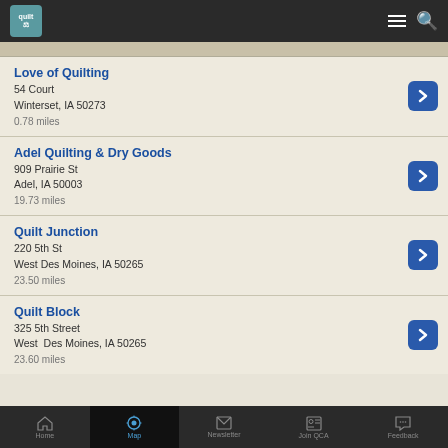Quilt [app logo] — navigation bar with hamburger menu and search icon
Love of Quilting
54 Court
Winterset, IA 50273
0.78 miles
Adel Quilting & Dry Goods
909 Prairie St
Adel, IA 50003
19.73 miles
Quilt Junction
220 5th St
West Des Moines, IA 50265
23.50 miles
Quilt Block
325 5th Street
West  Des Moines, IA 50265
23.60 miles
Home | Map | Newsletter | Join QCA | Feedback